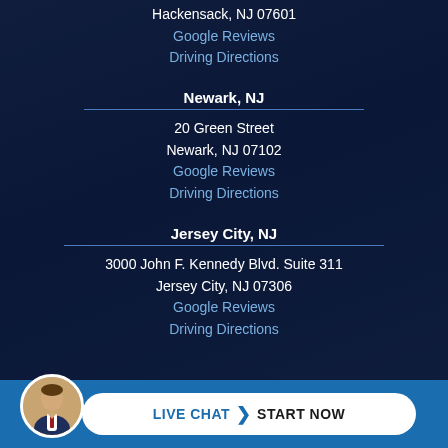Hackensack, NJ 07601
Google Reviews
Driving Directions
Newark, NJ
20 Green Street
Newark, NJ 07102
Google Reviews
Driving Directions
Jersey City, NJ
3000 John F. Kennedy Blvd. Suite 311
Jersey City, NJ 07306
Google Reviews
Driving Directions
[Figure (other): Live chat button with attorney avatar — LIVE CHAT > START NOW]